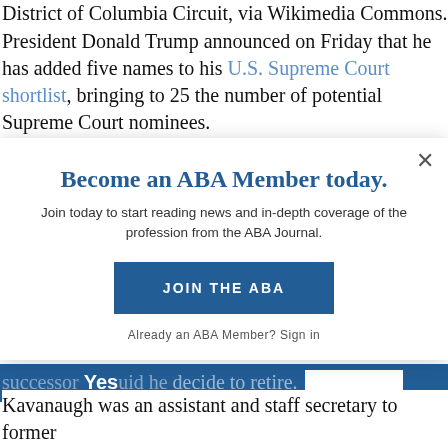District of Columbia Circuit, via Wikimedia Commons.
President Donald Trump announced on Friday that he has added five names to his U.S. Supreme Court shortlist, bringing to 25 the number of potential Supreme Court nominees.
Trump stuck to his list when he nominated Neil M. Gorsuch to the U.S. Supreme Court. Now there are five new judges on the list, though some are judicial newcomers, according to a White...
[Figure (screenshot): Modal popup overlay with ABA membership prompt. Title: 'Become an ABA Member today.' Body text: 'Join today to start reading news and in-depth coverage of the profession from the ABA Journal.' Button: 'JOIN THE ABA'. Footer: 'Already an ABA Member? Sign in'. Close button (X) in top right corner.]
successor Yes uid he decide to retire.
Kavanaugh was an assistant and staff secretary to former